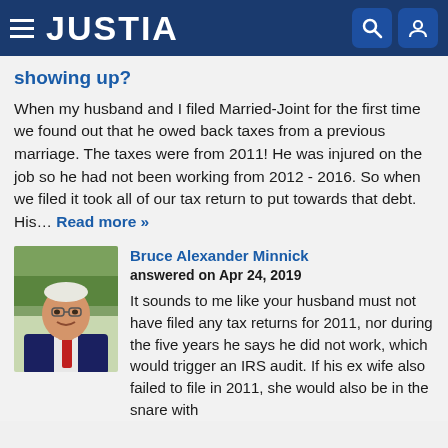JUSTIA
showing up?
When my husband and I filed Married-Joint for the first time we found out that he owed back taxes from a previous marriage. The taxes were from 2011! He was injured on the job so he had not been working from 2012 - 2016. So when we filed it took all of our tax return to put towards that debt. His… Read more »
[Figure (photo): Portrait photo of Bruce Alexander Minnick, older gentleman in suit with red tie, smiling, outdoors with trees in background]
Bruce Alexander Minnick
answered on Apr 24, 2019

It sounds to me like your husband must not have filed any tax returns for 2011, nor during the five years he says he did not work, which would trigger an IRS audit. If his ex wife also failed to file in 2011, she would also be in the snare with